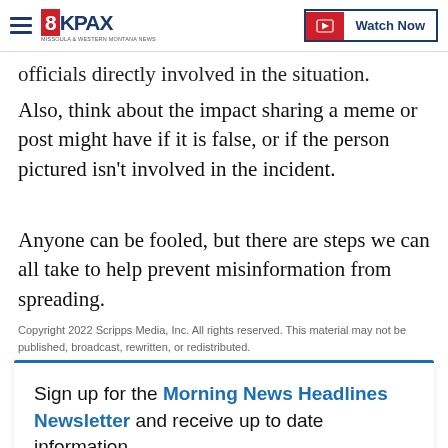8KPAX | Watch Now
officials directly involved in the situation.
Also, think about the impact sharing a meme or post might have if it is false, or if the person pictured isn't involved in the incident.
Anyone can be fooled, but there are steps we can all take to help prevent misinformation from spreading.
Copyright 2022 Scripps Media, Inc. All rights reserved. This material may not be published, broadcast, rewritten, or redistributed.
Sign up for the Morning News Headlines Newsletter and receive up to date information.